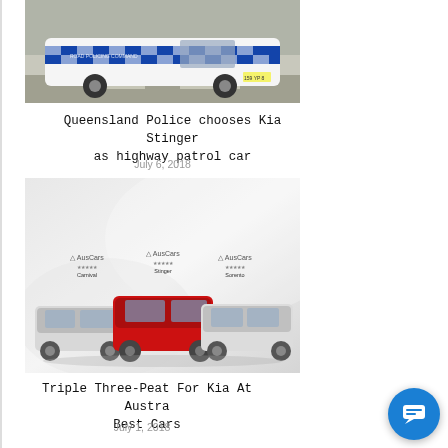[Figure (photo): Queensland Police Kia Stinger highway patrol car with blue and white checkered police livery in a parking lot]
Queensland Police chooses Kia Stinger as highway patrol car
July 6, 2018
[Figure (photo): Three Kia vehicles (Carnival, Stinger in red center, Sorento) displayed with AusCar Best Cars awards above them on a grey abstract background]
Triple Three-Peat For Kia At Austra Best Cars
July 1, 2018